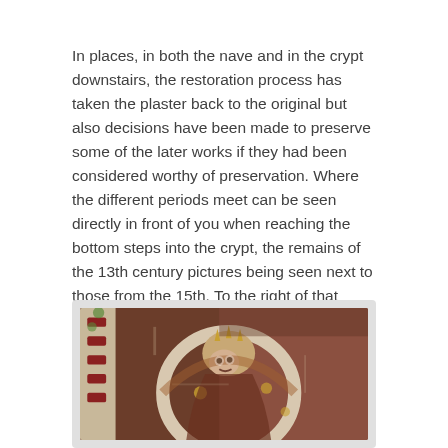In places, in both the nave and in the crypt downstairs, the restoration process has taken the plaster back to the original but also decisions have been made to preserve some of the later works if they had been considered worthy of preservation. Where the different periods meet can be seen directly in front of you when reaching the bottom steps into the crypt, the remains of the 13th century pictures being seen next to those from the 15th. To the right of that alcove an earlier marble pillar, from the original structure has also been uncovered.
[Figure (photo): Close-up photograph of a medieval fresco showing a crowned or helmeted figure with painted decorative elements in red, white, brown and ochre tones on aged plaster. The image appears to be of Romanesque or Gothic church wall paintings.]